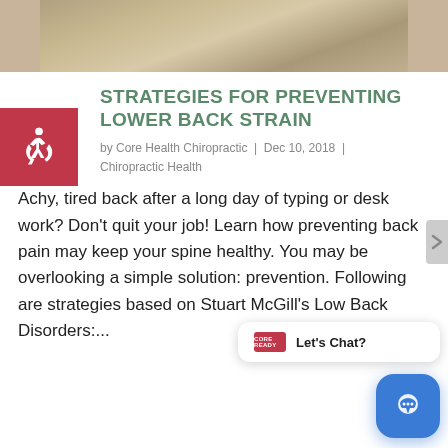[Figure (photo): Partial photo of a person likely at a desk or resting, cropped at top of page]
STRATEGIES FOR PREVENTING LOWER BACK STRAIN
by Core Health Chiropractic | Dec 10, 2018 | Chiropractic Health
Achy, tired back after a long day of typing or desk work? Don't quit your job! Learn how preventing back pain may keep your spine healthy. You may be overlooking a simple solution: prevention. Following are strategies based on Stuart McGill's Low Back Disorders:...